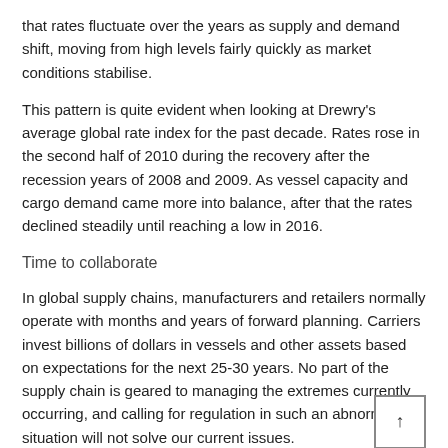that rates fluctuate over the years as supply and demand shift, moving from high levels fairly quickly as market conditions stabilise.
This pattern is quite evident when looking at Drewry's average global rate index for the past decade. Rates rose in the second half of 2010 during the recovery after the recession years of 2008 and 2009. As vessel capacity and cargo demand came more into balance, after that the rates declined steadily until reaching a low in 2016.
Time to collaborate
In global supply chains, manufacturers and retailers normally operate with months and years of forward planning. Carriers invest billions of dollars in vessels and other assets based on expectations for the next 25-30 years. No part of the supply chain is geared to managing the extremes currently occurring, and calling for regulation in such an abnormal situation will not solve our current issues.
All parties are doing what they can to manage their way through this unprecedented pandemic. Unfortunately, they may unknowingly